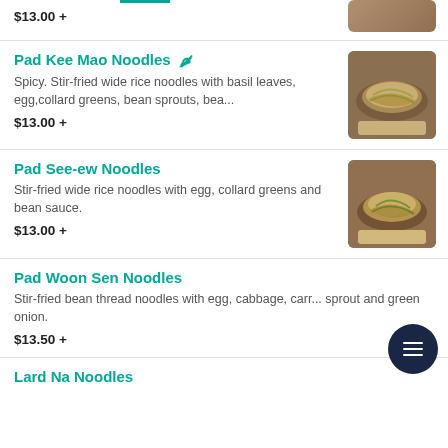$13.00 +
Pad Kee Mao Noodles
Spicy. Stir-fried wide rice noodles with basil leaves, egg,collard greens, bean sprouts, bea...
$13.00 +
[Figure (photo): Photo of Pad Kee Mao Noodles dish on a white plate on wooden background]
Pad See-ew Noodles
Stir-fried wide rice noodles with egg, collard greens and bean sauce.
$13.00 +
[Figure (photo): Photo of Pad See-ew Noodles dish on a white plate on wooden background]
Pad Woon Sen Noodles
Stir-fried bean thread noodles with egg, cabbage, carr... sprout and green onion.
$13.50 +
Lard Na Noodles